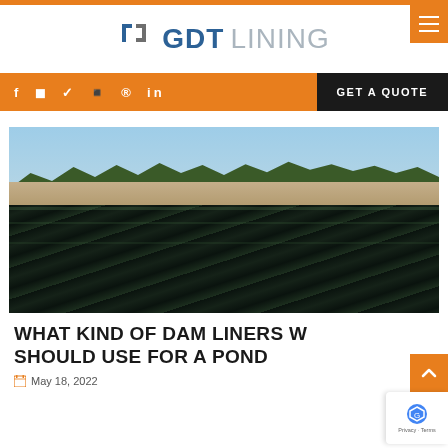[Figure (logo): GDT Lining company logo with blue square bracket icon and text 'GDT LINING']
[Figure (infographic): Navigation bar with social media icons (f, camera, bird/twitter, map, pinterest, in) on orange background and 'GET A QUOTE' button on black background]
[Figure (photo): Aerial photograph of a large dam or pond lined with black HDPE geomembrane liner material, with earthen embankments, blue sky, and green trees in the background]
WHAT KIND OF DAM LINERS W SHOULD USE FOR A POND
May 18, 2022